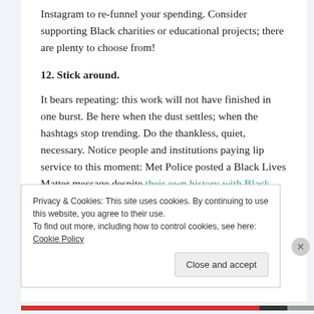Instagram to re-funnel your spending. Consider supporting Black charities or educational projects; there are plenty to choose from!
12. Stick around.
It bears repeating: this work will not have finished in one burst. Be here when the dust settles; when the hashtags stop trending. Do the thankless, quiet, necessary. Notice people and institutions paying lip service to this moment: Met Police posted a Black Lives Matter message despite their own history with Black people dying in police custody; so did L'Oréal, who famously dropped Munroe Bergdorf,
Privacy & Cookies: This site uses cookies. By continuing to use this website, you agree to their use.
To find out more, including how to control cookies, see here: Cookie Policy